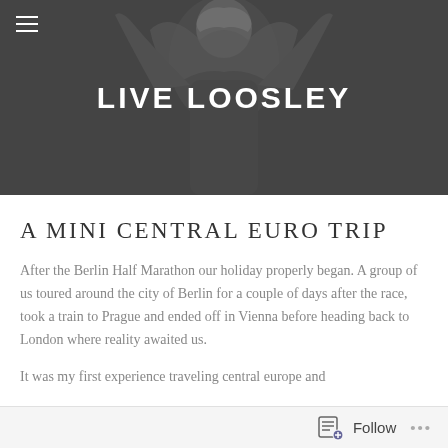[Figure (photo): Grayscale header photo of a person with arms raised, used as website banner background]
LIVE LOOSLEY
A MINI CENTRAL EURO TRIP
After the Berlin Half Marathon our holiday properly began. A group of us toured around the city of Berlin for a couple of days after the race, took a train to Prague and ended off in Vienna before heading back to London where reality awaited us.
It was my first experience traveling central europe and
Follow ...